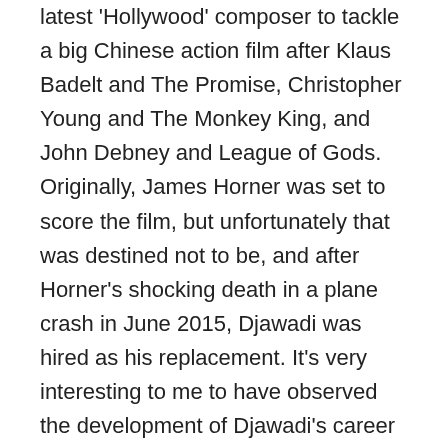latest 'Hollywood' composer to tackle a big Chinese action film after Klaus Badelt and The Promise, Christopher Young and The Monkey King, and John Debney and League of Gods. Originally, James Horner was set to score the film, but unfortunately that was destined not to be, and after Horner's shocking death in a plane crash in June 2015, Djawadi was hired as his replacement. It's very interesting to me to have observed the development of Djawadi's career over the last decade or so. When he first entered the film music mainstream in 2008 with his score for Iron Man, frankly, I didn't think he was very good, and most of his subsequent scores didn't do a whole lot to change my mind. Then, in 2011, he was hired to score the first season of HBO's hit series Game of Thrones, and since then Djawadi has gradually transformed into a much better, more accomplished composer. His work on Game